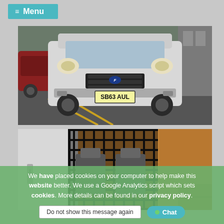≡ Menu
[Figure (photo): Front view of a white Ford Transit Connect van with UK registration plate SB63 AUL, parked in a car park]
[Figure (photo): Interior view of a van showing a metal cage/grille partition behind the front seats, with wooden floor in the cargo area]
We have placed cookies on your computer to help make this website better. We use a Google Analytics script which sets cookies. More details can be found in our privacy policy.
Do not show this message again
● Chat